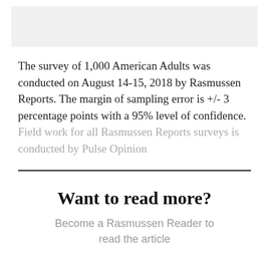[Figure (other): Light gray rectangular image placeholder at the top of the page]
The survey of 1,000 American Adults was conducted on August 14-15, 2018 by Rasmussen Reports. The margin of sampling error is +/- 3 percentage points with a 95% level of confidence. Field work for all Rasmussen Reports surveys is conducted by Pulse Opinion
Want to read more?
Become a Rasmussen Reader to read the article